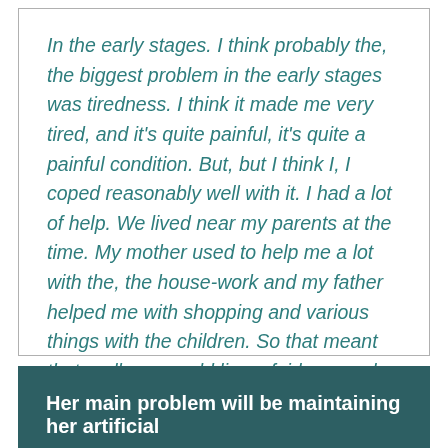In the early stages. I think probably the, the biggest problem in the early stages was tiredness. I think it made me very tired, and it's quite painful, it's quite a painful condition. But, but I think I, I coped reasonably well with it. I had a lot of help. We lived near my parents at the time. My mother used to help me a lot with the, the house-work and my father helped me with shopping and various things with the children. So that meant that really we could live a fairly normal life.
Her main problem will be maintaining her artificial